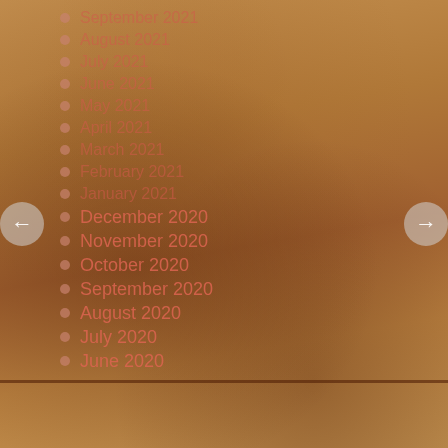[Figure (photo): Textured brown skin/leather background with mottled darker patches, used as a webpage archive/navigation sidebar background]
September 2021
August 2021
July 2021
June 2021
May 2021
April 2021
March 2021
February 2021
January 2021
December 2020
November 2020
October 2020
September 2020
August 2020
July 2020
June 2020